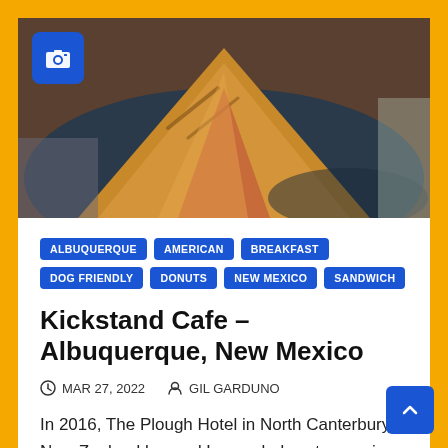[Figure (photo): Close-up photo of a grilled sandwich on a dark blue plate, golden-brown crust with grill marks visible]
ALBUQUERQUE
AMERICAN
BREAKFAST
DOG FRIENDLY
DONUTS
NEW MEXICO
SANDWICH
Kickstand Cafe – Albuquerque, New Mexico
MAR 27, 2022   GIL GARDUNO
In 2016, The Plough Hotel in North Canterbury, New Zealand banned Lycra-clad customers in an attempt to remove any "unsightly…